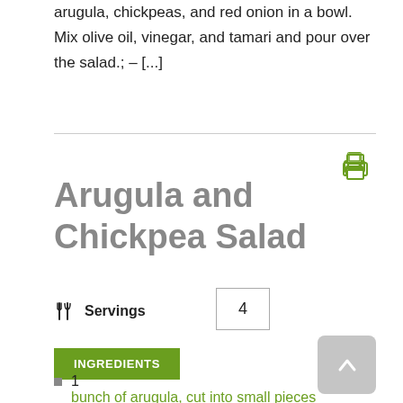arugula, chickpeas, and red onion in a bowl. Mix olive oil, vinegar, and tamari and pour over the salad.; – [...]
Arugula and Chickpea Salad
Servings  4
INGREDIENTS
1
bunch of arugula, cut into small pieces